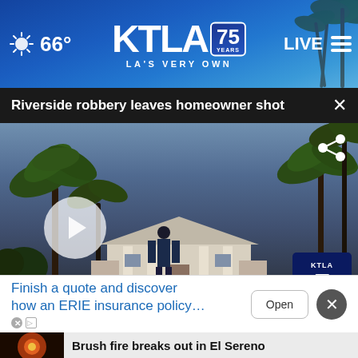66° KTLA 75 YEARS LA'S VERY OWN LIVE
Riverside robbery leaves homeowner shot
[Figure (screenshot): News video screenshot showing a large house with palm trees, driveway, police officer with crime scene tape, play button overlay, KTLA 5 bug, share icon, and traffic ticker at bottom reading: TRAFFIC | tbound CR-518 El Toro Rd W/B: road blocked from Moulton Pkwy to Canyon Wren | 76° | 5:38]
Brush fire breaks out in El Sereno
Finish a quote and discover how an ERIE insurance policy…
Open